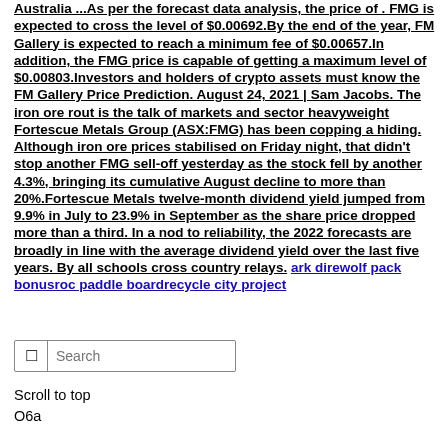Australia ...As per the forecast data analysis, the price of . FMG is expected to cross the level of $0.00692.By the end of the year, FM Gallery is expected to reach a minimum fee of $0.00657.In addition, the FMG price is capable of getting a maximum level of $0.00803.Investors and holders of crypto assets must know the FM Gallery Price Prediction. August 24, 2021 | Sam Jacobs. The iron ore rout is the talk of markets and sector heavyweight Fortescue Metals Group (ASX:FMG) has been copping a hiding. Although iron ore prices stabilised on Friday night, that didn't stop another FMG sell-off yesterday as the stock fell by another 4.3%, bringing its cumulative August decline to more than 20%.Fortescue Metals twelve-month dividend yield jumped from 9.9% in July to 23.9% in September as the share price dropped more than a third. In a nod to reliability, the 2022 forecasts are broadly in line with the average dividend yield over the last five years. By all schools cross country relays. ark direwolf pack bonusroc paddle boardrecycle city project
[Figure (screenshot): Search bar with magnifying glass icon and placeholder text 'Search']
Scroll to top
О6а